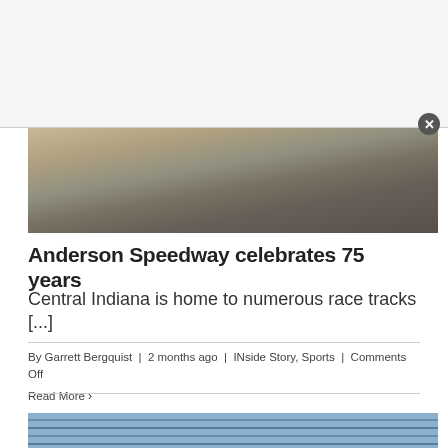[Figure (photo): Top banner/advertisement area with light gray background and close button (X)]
[Figure (photo): Aerial or ground-level photo of a race track surface with tire marks, dark asphalt, brown and gray tones]
Anderson Speedway celebrates 75 years
Central Indiana is home to numerous race tracks [...]
By Garrett Bergquist  |  2 months ago  |  INside Story, Sports  |  Comments Off
Read More >
[Figure (photo): Photo of a race car on a banked oval track with blue/gray metal guardrails, dark car with yellow element visible]
[Figure (photo): Bottom banner/advertisement area with light gray background and close button (X)]